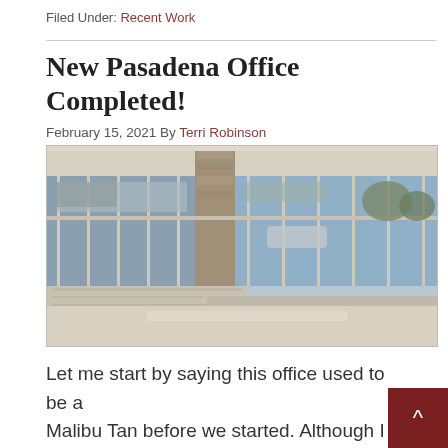Filed Under: Recent Work
New Pasadena Office Completed!
February 15, 2021 By Terri Robinson
[Figure (photo): Interior photo of a modern office with floor-to-ceiling glass windows showing a parking lot and trees outside, with granite countertops visible in the foreground]
Let me start by saying this office used to be a Malibu Tan before we started. Although I can